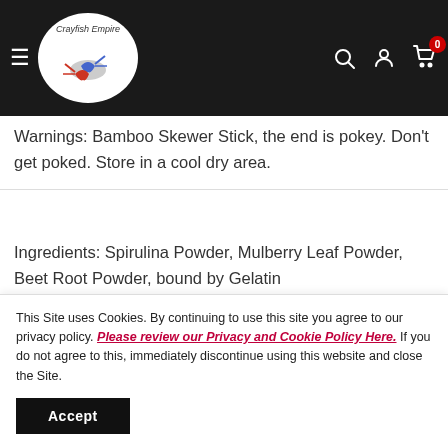Crayfish Empire [navigation bar with logo, search, account, cart icons]
Warnings: Bamboo Skewer Stick, the end is pokey. Don't get poked. Store in a cool dry area.
Ingredients: Spirulina Powder, Mulberry Leaf Powder, Beet Root Powder, bound by Gelatin
You may also like
This Site uses Cookies. By continuing to use this site you agree to our privacy policy. Please review our Privacy and Cookie Policy Here. If you do not agree to this, immediately discontinue using this website and close the Site.
Accept